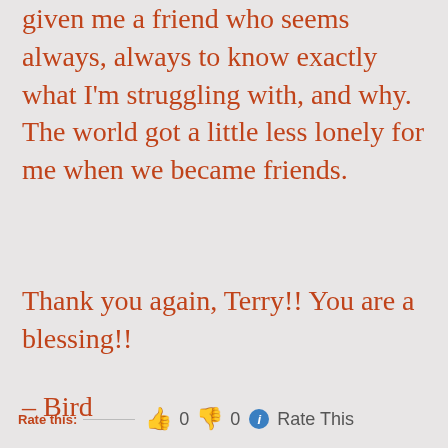given me a friend who seems always, always to know exactly what I'm struggling with, and why. The world got a little less lonely for me when we became friends.
Thank you again, Terry!! You are a blessing!!
– Bird
Rate this: 👍 0 👎 0 ℹ Rate This